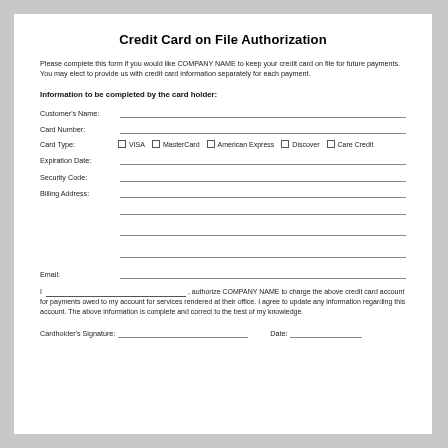Credit Card on File Authorization
Please complete this form if you would like COMPANY NAME to keep your credit card on file for future payments. You may elect to provide us with credit card information separately for each payment.
Information to be completed by the card holder:
Customer's Name: ___________________________________________
Card Number: ___________________________________________
Card Type: □ VISA □ MasterCard □ American Express □ Discover □ Care Credit
Expiration Date: ___________________________________________
Security Code: ___________________________________________
Billing Address: ___________________________________________
Email: ___________________________________________
I _________________________, authorize COMPANY NAME to charge the above credit card account for payments owed to my account for services rendered at their office. I agree to update any information regarding this account. The above information is complete and correct to the best of my knowledge.
Cardholder's Signature: _______________________________   Date: _______________